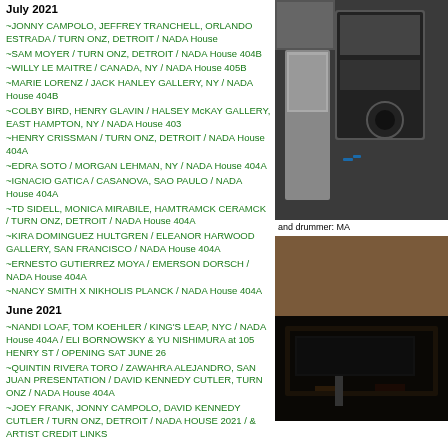July 2021
~JONNY CAMPOLO, JEFFREY TRANCHELL, ORLANDO ESTRADA / TURN ONZ, DETROIT / NADA House
~SAM MOYER / TURN ONZ, DETROIT / NADA House 404B
~WILLY LE MAITRE / CANADA, NY / NADA House 405B
~MARIE LORENZ / JACK HANLEY GALLERY, NY / NADA House 404B
~COLBY BIRD, HENRY GLAVIN / HALSEY McKAY GALLERY, EAST HAMPTON, NY / NADA House 403
~HENRY CRISSMAN / TURN ONZ, DETROIT / NADA House 404A
~EDRA SOTO / MORGAN LEHMAN, NY / NADA House 404A
~IGNACIO GATICA / CASANOVA, SAO PAULO / NADA House 404A
~TD SIDELL, MONICA MIRABILE, HAMTRAMCK CERAMCK / TURN ONZ, DETROIT / NADA House 404A
~KIRA DOMINGUEZ HULTGREN / ELEANOR HARWOOD GALLERY, SAN FRANCISCO / NADA House 404A
~ERNESTO GUTIERREZ MOYA / EMERSON DORSCH / NADA House 404A
~NANCY SMITH X NIKHOLIS PLANCK / NADA House 404A
June 2021
~NANDI LOAF, TOM KOEHLER / KING'S LEAP, NYC / NADA House 404A / ELI BORNOWSKY & YU NISHIMURA at 105 HENRY ST / OPENING SAT JUNE 26
~QUINTIN RIVERA TORO / ZAWAHRA ALEJANDRO, SAN JUAN PRESENTATION / DAVID KENNEDY CUTLER, TURN ONZ / NADA House 404A
~JOEY FRANK, JONNY CAMPOLO, DAVID KENNEDY CUTLER / TURN ONZ, DETROIT / NADA HOUSE 2021 / & ARTIST CREDIT LINKS
May 2021
~NANCY SMITH . . . 'MAYBE…', TURN ONZ LIGHT SWITCH / FOR JEFFREY TRANCHELL / NADA HOUSE
~'TURN ONZ' . . . DETROIT / CURATED BY JEFFREY TRANCHELL / NADA HOUSE / LET THERE BE… LIGHT
[Figure (photo): Close-up photo of audio/music equipment, dark tones with blue cable visible]
and drummer: MA
[Figure (photo): Dark interior photo showing room with equipment]